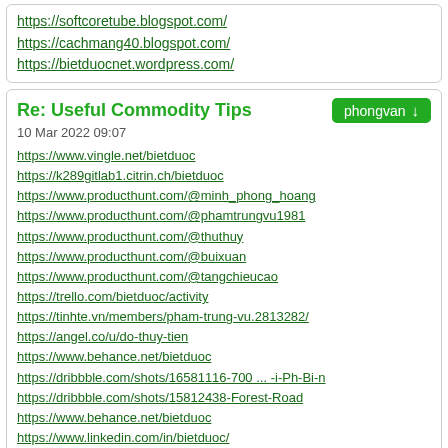https://softcoretube.blogspot.com/
https://cachmang40.blogspot.com/
https://bietduocnet.wordpress.com/
Re: Useful Commodity Tips
10 Mar 2022 09:07
https://www.vingle.net/bietduoc
https://k289gitlab1.citrin.ch/bietduoc
https://www.producthunt.com/@minh_phong_hoang
https://www.producthunt.com/@phamtrungvu1981
https://www.producthunt.com/@thuthuy
https://www.producthunt.com/@buixuan
https://www.producthunt.com/@tangchieucao
https://trello.com/bietduoc/activity
https://tinhte.vn/members/pham-trung-vu.2813282/
https://angel.co/u/do-thuy-tien
https://www.behance.net/bietduoc
https://dribbble.com/shots/16581116-700 ... -i-Ph-Bi-n
https://dribbble.com/shots/15812438-Forest-Road
https://www.behance.net/bietduoc
https://www.linkedin.com/in/bietduoc/
https://twitter.com/bietduocnet
https://github.com/Bietduoc2021
https://www.woddal.com/bietduoc
https://torgi.gov.ru/forum/user/edit/1337616.page
https://torgi.gov.ru/forum/user/editDone/1371479.page
https://www.pinterest.com/bietduoc/_saved/
https://flickr.com/photos/192408074@N08/
https://www.bonanza.com/users/47906244/profile